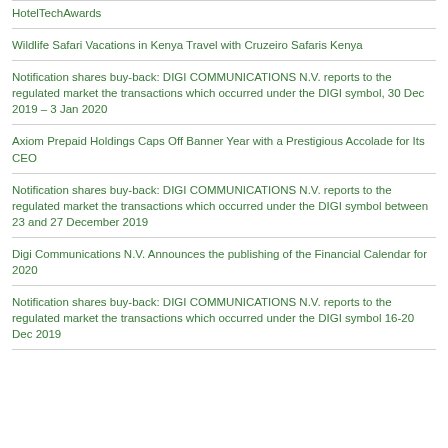HotelTechAwards
Wildlife Safari Vacations in Kenya Travel with Cruzeiro Safaris Kenya
Notification shares buy-back: DIGI COMMUNICATIONS N.V. reports to the regulated market the transactions which occurred under the DIGI symbol, 30 Dec 2019 – 3 Jan 2020
Axiom Prepaid Holdings Caps Off Banner Year with a Prestigious Accolade for Its CEO
Notification shares buy-back: DIGI COMMUNICATIONS N.V. reports to the regulated market the transactions which occurred under the DIGI symbol between 23 and 27 December 2019
Digi Communications N.V. Announces the publishing of the Financial Calendar for 2020
Notification shares buy-back: DIGI COMMUNICATIONS N.V. reports to the regulated market the transactions which occurred under the DIGI symbol 16-20 Dec 2019